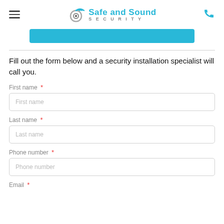Safe and Sound Security
[Figure (other): Cyan button bar (CTA button placeholder)]
Fill out the form below and a security installation specialist will call you.
First name *
First name (placeholder)
Last name *
Last name (placeholder)
Phone number *
Phone number (placeholder)
Email *